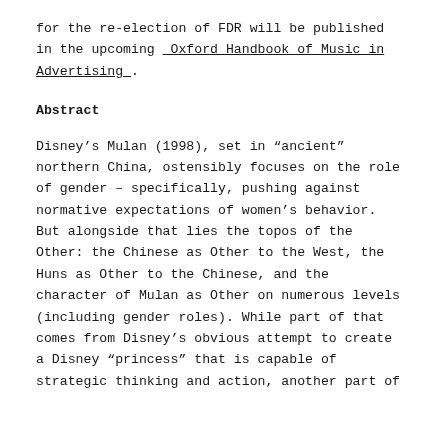for the re-election of FDR will be published in the upcoming _Oxford Handbook of Music in Advertising_.
Abstract
Disney’s Mulan (1998), set in “ancient” northern China, ostensibly focuses on the role of gender – specifically, pushing against normative expectations of women’s behavior. But alongside that lies the topos of the Other: the Chinese as Other to the West, the Huns as Other to the Chinese, and the character of Mulan as Other on numerous levels (including gender roles). While part of that comes from Disney’s obvious attempt to create a Disney “princess” that is capable of strategic thinking and action, another part of